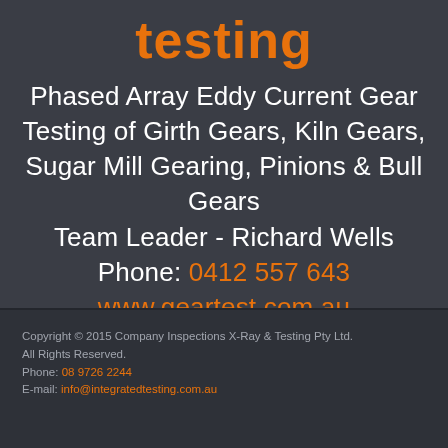testing
Phased Array Eddy Current Gear Testing of Girth Gears, Kiln Gears, Sugar Mill Gearing, Pinions & Bull Gears
Team Leader - Richard Wells
Phone: 0412 557 643
www.geartest.com.au
Copyright © 2015 Company Inspections X-Ray & Testing Pty Ltd.
All Rights Reserved.
Phone: 08 9726 2244
E-mail: info@integratedtesting.com.au